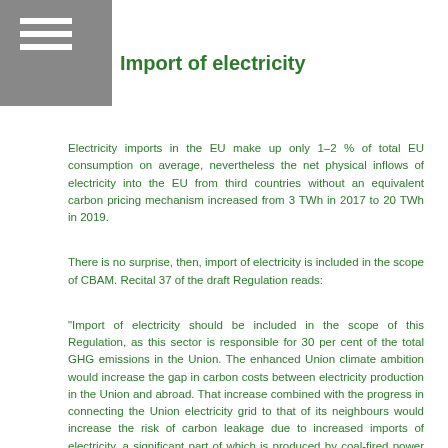Import of electricity
Electricity imports in the EU make up only 1–2 % of total EU consumption on average, nevertheless the net physical inflows of electricity into the EU from third countries without an equivalent carbon pricing mechanism increased from 3 TWh in 2017 to 20 TWh in 2019.
There is no surprise, then, import of electricity is included in the scope of CBAM. Recital 37 of the draft Regulation reads:
“Import of electricity should be included in the scope of this Regulation, as this sector is responsible for 30 per cent of the total GHG emissions in the Union. The enhanced Union climate ambition would increase the gap in carbon costs between electricity production in the Union and abroad. That increase combined with the progress in connecting the Union electricity grid to that of its neighbours would increase the risk of carbon leakage due to increased imports of electricity, a significant part of which is produced by coal-fired power plants”.
In line with approaches applied to the material products, a reference value for emissions embedded in imported electricity needed to be established in the context of the existing, the corresponding CBAM…